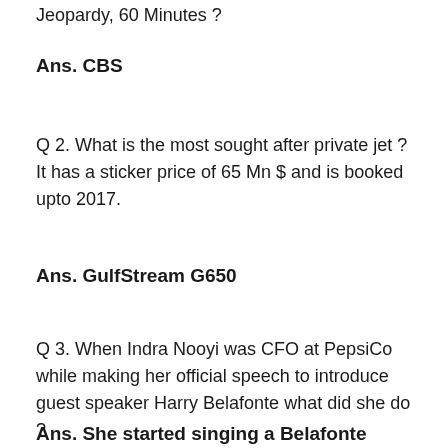Jeopardy, 60 Minutes ?
Ans. CBS
Q 2. What is the most sought after private jet ? It has a sticker price of 65 Mn $ and is booked upto 2017.
Ans. GulfStream G650
Q 3. When Indra Nooyi was CFO at PepsiCo while making her official speech to introduce guest speaker Harry Belafonte what did she do ?
Ans. She started singing a Belafonte song